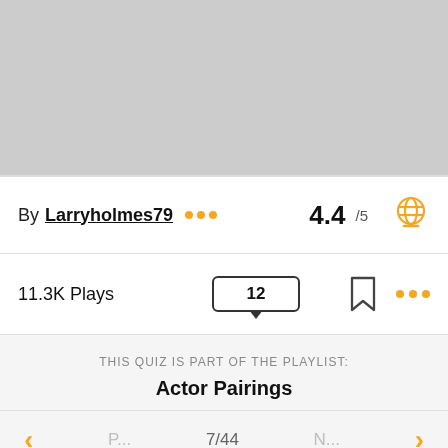[Figure (photo): Large grey placeholder image area at top of page]
By Larryholmes79 ••• 4.4 /5
11.3K Plays  12  ···
THIS QUIZ IS PART OF THE PLAYLIST:
Actor Pairings
< ... 7/44 ... >